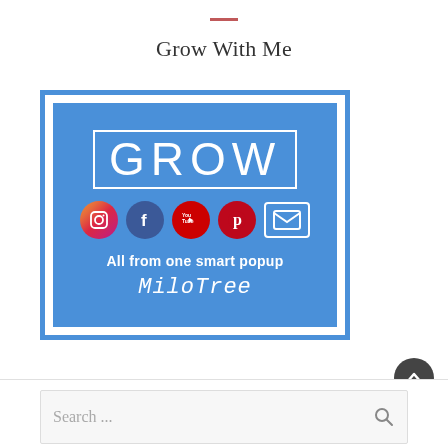Grow With Me
[Figure (logo): MiloTree promotional banner with blue background showing GROW text, social media icons (Instagram, Facebook, YouTube, Pinterest, Email), tagline 'All from one smart popup', and MiloTree brand name]
Search ...